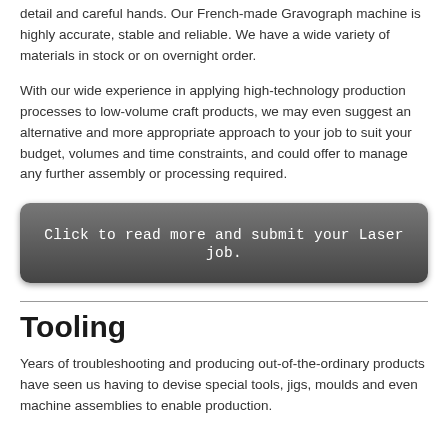detail and careful hands. Our French-made Gravograph machine is highly accurate, stable and reliable. We have a wide variety of materials in stock or on overnight order.
With our wide experience in applying high-technology production processes to low-volume craft products, we may even suggest an alternative and more appropriate approach to your job to suit your budget, volumes and time constraints, and could offer to manage any further assembly or processing required.
[Figure (other): Dark rounded button with text: Click to read more and submit your Laser job.]
Tooling
Years of troubleshooting and producing out-of-the-ordinary products have seen us having to devise special tools, jigs, moulds and even machine assemblies to enable production.